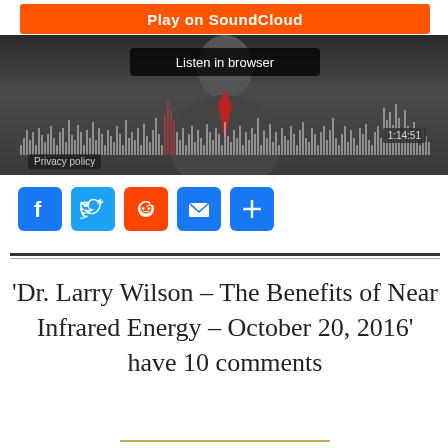[Figure (screenshot): SoundCloud embedded audio player with orange Play on SoundCloud button, Listen in browser button, audio waveform visualization, timer showing 1:14:51, and Privacy policy label. Dark background with blurred person image.]
[Figure (infographic): Social sharing icons row: Facebook (blue), Twitter (blue), Reddit (orange), Email (blue envelope), Share plus (blue)]
'Dr. Larry Wilson – The Benefits of Near Infrared Energy – October 20, 2016' have 10 comments